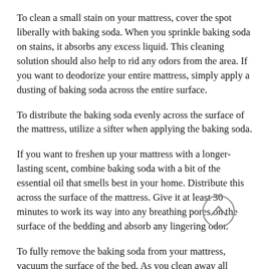To clean a small stain on your mattress, cover the spot liberally with baking soda. When you sprinkle baking soda on stains, it absorbs any excess liquid. This cleaning solution should also help to rid any odors from the area. If you want to deodorize your entire mattress, simply apply a dusting of baking soda across the entire surface.
To distribute the baking soda evenly across the surface of the mattress, utilize a sifter when applying the baking soda.
If you want to freshen up your mattress with a longer-lasting scent, combine baking soda with a bit of the essential oil that smells best in your home. Distribute this across the surface of the mattress. Give it at least 30 minutes to work its way into any breathing pores on the surface of the bedding and absorb any lingering odor.
To fully remove the baking soda from your mattress, vacuum the surface of the bed. As you clean away all residue, you will also be removing any odor attracting liquids that were absorbed into your mattress.